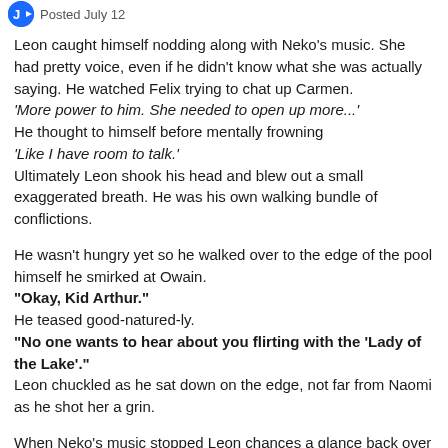Posted July 12
Leon caught himself nodding along with Neko's music. She had pretty voice, even if he didn't know what she was actually saying. He watched Felix trying to chat up Carmen.
'More power to him. She needed to open up more...'
He thought to himself before mentally frowning
'Like I have room to talk.'
Ultimately Leon shook his head and blew out a small exaggerated breath. He was his own walking bundle of conflictions.
He wasn't hungry yet so he walked over to the edge of the pool himself he smirked at Owain.
"Okay, Kid Arthur."
He teased good-natured-ly.
"No one wants to hear about you flirting with the 'Lady of the Lake'."
Leon chuckled as he sat down on the edge, not far from Naomi as he shot her a grin.
When Neko's music stopped Leon chances a glance back over his shoulder. His grin faded as he watched her disrobe her kimono.